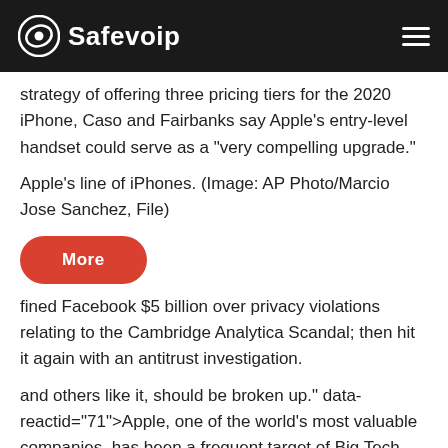Safevoip
strategy of offering three pricing tiers for the 2020 iPhone, Caso and Fairbanks say Apple's entry-level handset could serve as a "very compelling upgrade."
Apple's line of iPhones. (Image: AP Photo/Marcio Jose Sanchez, File)
More
fined Facebook $5 billion over privacy violations relating to the Cambridge Analytica Scandal; then hit it again with an antitrust investigation.
and others like it, should be broken up." data-reactid="71">Apple, one of the world's most valuable companies, has been a frequent target of Big Tech opponents including the likes of Senator